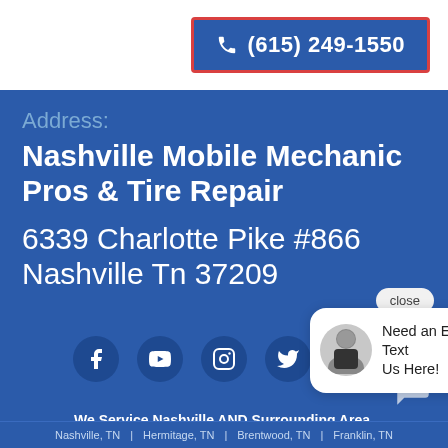(615) 249-1550
Address:
Nashville Mobile Mechanic Pros & Tire Repair
6339 Charlotte Pike #866 Nashville Tn 37209
close
Need an Estimate? Text Us Here!
[Figure (infographic): Social media icons row: Facebook, YouTube, Instagram, Twitter, LinkedIn — white icons on dark blue circular backgrounds]
We Service Nashville AND Surrounding Area.
Nashville, TN | Hermitage, TN | Brentwood, TN | Franklin, TN